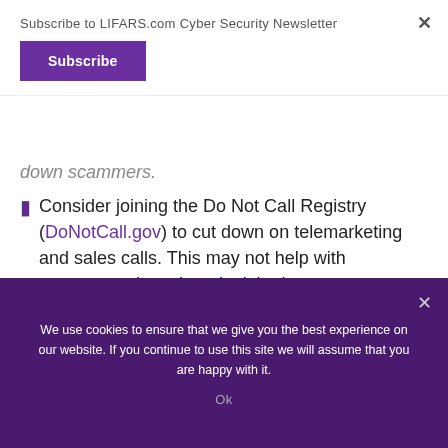Subscribe to LIFARS.com Cyber Security Newsletter
Subscribe
down scammers.
Consider joining the Do Not Call Registry (DoNotCall.gov) to cut down on telemarketing and sales calls. This may not help with scammers since they don't bother to pay attention to the law, but you'll get fewer calls overall. That may help you more quickly notice the ones that could be fraudulent.
We use cookies to ensure that we give you the best experience on our website. If you continue to use this site we will assume that you are happy with it.
Ok